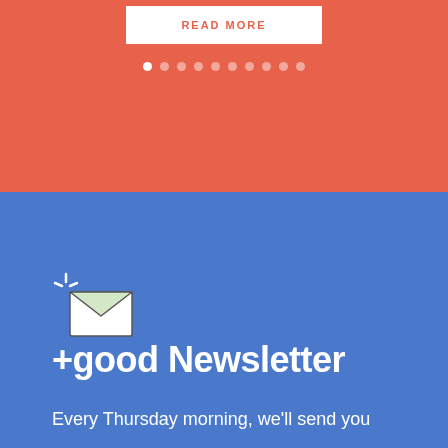[Figure (screenshot): Red/coral background section with a white READ MORE button and pagination dots below it]
READ MORE
[Figure (illustration): Envelope icon with sparkle lines indicating a new message notification]
+good Newsletter
Every Thursday morning, we'll send you